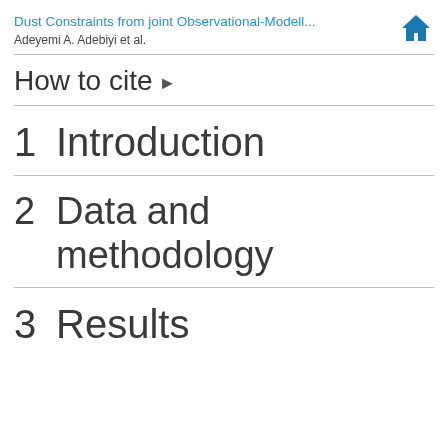Dust Constraints from joint Observational-Modell...
Adeyemi A. Adebiyi et al.
How to cite ▶
1  Introduction
2  Data and methodology
3  Results